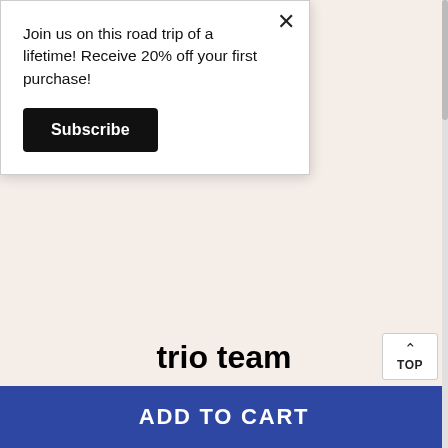Join us on this road trip of a lifetime! Receive 20% off your first purchase!
Subscribe
trio team
From kitchen counters to car exteriors and bathtub walls, our power device can clean efficiently with any liquid soap or cleaner — all without scratches. The magic is in our interchangeable brush heads: the soft sponge brush head is suitable for cleaning fragile items like dishes and pans, the polyester-sherpa brush is suitable for cleaning surfaces like sofas and carpets, and the hard-nylon...
ADD TO CART